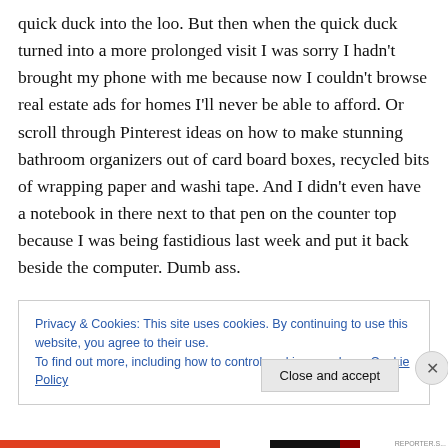quick duck into the loo. But then when the quick duck turned into a more prolonged visit I was sorry I hadn't brought my phone with me because now I couldn't browse real estate ads for homes I'll never be able to afford. Or scroll through Pinterest ideas on how to make stunning bathroom organizers out of card board boxes, recycled bits of wrapping paper and washi tape. And I didn't even have a notebook in there next to that pen on the counter top because I was being fastidious last week and put it back beside the computer. Dumb ass.
Privacy & Cookies: This site uses cookies. By continuing to use this website, you agree to their use.
To find out more, including how to control cookies, see here: Cookie Policy